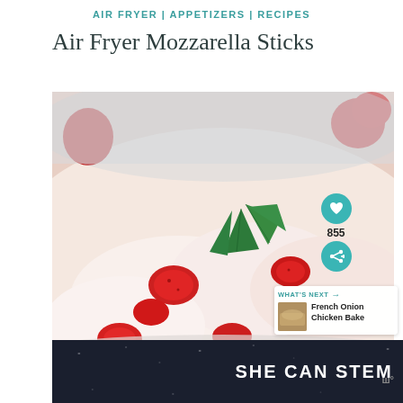AIR FRYER | APPETIZERS | RECIPES
Air Fryer Mozzarella Sticks
[Figure (photo): Close-up photo of a creamy strawberry dessert salad in a bowl, topped with fresh sliced strawberries and mint leaves, with a red strawberry visible in background]
[Figure (infographic): Side UI overlay: heart/save button with count 855, share button, and 'WHAT'S NEXT' panel showing French Onion Chicken Bake thumbnail]
[Figure (infographic): Bottom advertisement banner with dark background reading 'SHE CAN STEM' with logo mark on right]